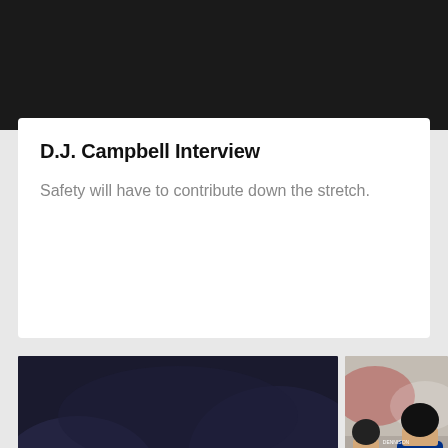[Figure (photo): Dark/black top bar area, appears to be top of a mobile news app page]
D.J. Campbell Interview
Safety will have to contribute down the stretch.
[Figure (photo): Carolina Panthers football player wearing jersey number 59 running with the ball, with a play button overlay indicating a video. Other players in teal Panthers uniforms visible in background.]
[Figure (photo): Partial view of football players on field, one wearing jersey number 9 and another number 70, appears to be Houston Texans vs Carolina Panthers game.]